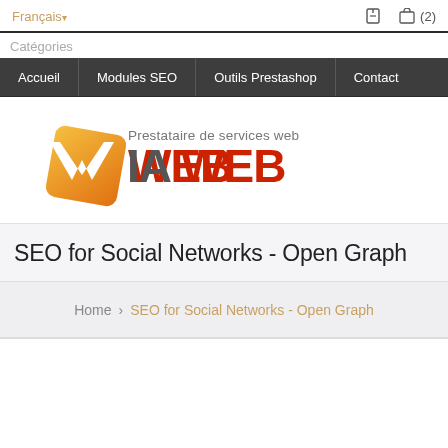Français ▾   [login icon]   [cart icon] (2)
Catégories
Accueil | Modules SEO | Outils Prestashop | Contact
[Figure (logo): Via Web logo — orange diamond shape with white V, text 'VIA WEB' in dark gray and red, tagline 'Prestataire de services web' in gray above]
SEO for Social Networks - Open Graph
Home › SEO for Social Networks - Open Graph